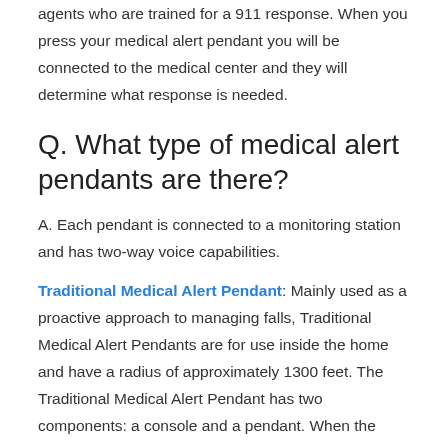agents who are trained for a 911 response. When you press your medical alert pendant you will be connected to the medical center and they will determine what response is needed.
Q. What type of medical alert pendants are there?
A. Each pendant is connected to a monitoring station and has two-way voice capabilities.
Traditional Medical Alert Pendant: Mainly used as a proactive approach to managing falls, Traditional Medical Alert Pendants are for use inside the home and have a radius of approximately 1300 feet. The Traditional Medical Alert Pendant has two components: a console and a pendant. When the Traditional Medical Pendant is pressed